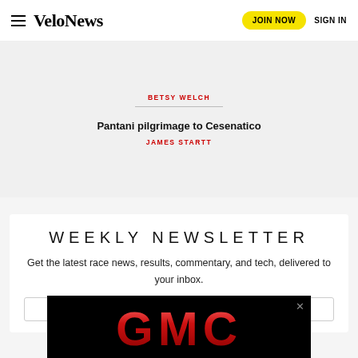VeloNews | JOIN NOW | SIGN IN
BETSY WELCH
Pantani pilgrimage to Cesenatico
JAMES STARTT
WEEKLY NEWSLETTER
Get the latest race news, results, commentary, and tech, delivered to your inbox.
[Figure (logo): GMC advertisement banner with red metallic GMC logo on black background]